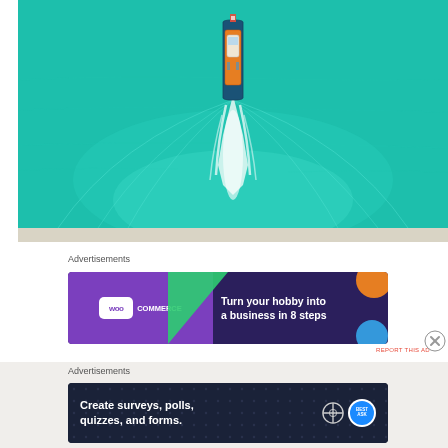[Figure (photo): Aerial drone view of a boat traveling through turquoise water, leaving a white wake trail. The boat appears orange/wooden viewed from directly above.]
Advertisements
[Figure (screenshot): WooCommerce advertisement banner with purple background. Left side shows WooCommerce logo on purple, center has green triangle decoration, right side reads 'Turn your hobby into a business in 8 steps' in white text. Orange circle top right, blue circle bottom right.]
REPORT THIS AD
Advertisements
[Figure (screenshot): Dark navy advertisement banner for WordPress/BestAsk survey tool. Text reads 'Create surveys, polls, quizzes, and forms.' with WordPress logo and BestAsk circular badge on the right. Background has subtle dot pattern.]